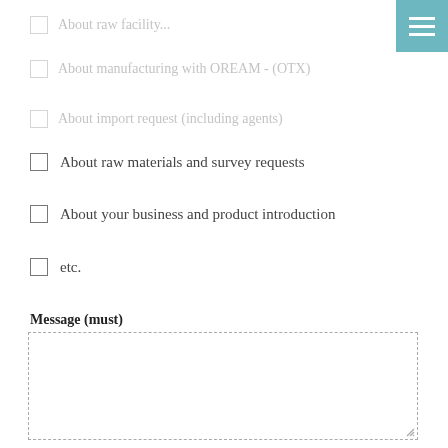About raw facility...
About manufacturing with OREAM - (OTX)
About import request (including agents)
About raw materials and survey requests
About your business and product introduction
etc.
Message (must)